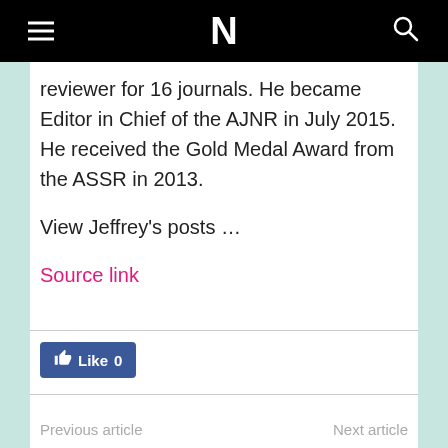N
reviewer for 16 journals. He became Editor in Chief of the AJNR in July 2015. He received the Gold Medal Award from the ASSR in 2013.
View Jeffrey's posts …
Source link
[Figure (other): Facebook Like button showing 0 likes]
Previous article    Next article